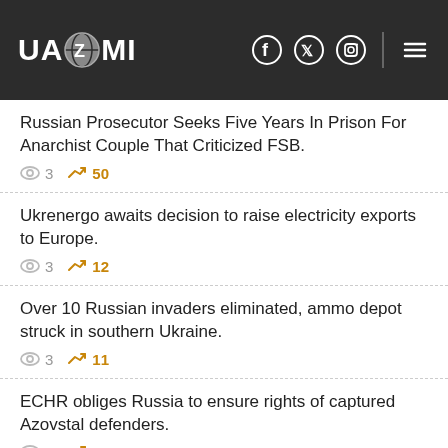UAZMI
Russian Prosecutor Seeks Five Years In Prison For Anarchist Couple That Criticized FSB. | views: 3 | trend: 50
Ukrenergo awaits decision to raise electricity exports to Europe. | views: 3 | trend: 12
Over 10 Russian invaders eliminated, ammo depot struck in southern Ukraine. | views: 3 | trend: 11
ECHR obliges Russia to ensure rights of captured Azovstal defenders. | views: 3 | trend: 1